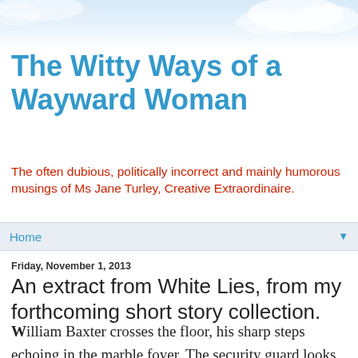The Witty Ways of a Wayward Woman
The often dubious, politically incorrect and mainly humorous musings of Ms Jane Turley, Creative Extraordinaire.
Home
Friday, November 1, 2013
An extract from White Lies, from my forthcoming short story collection.
William Baxter crosses the floor, his sharp steps echoing in the marble foyer. The security guard looks up and touches his cap and Baxter gives him a cursory nod of recognition. Baxter always